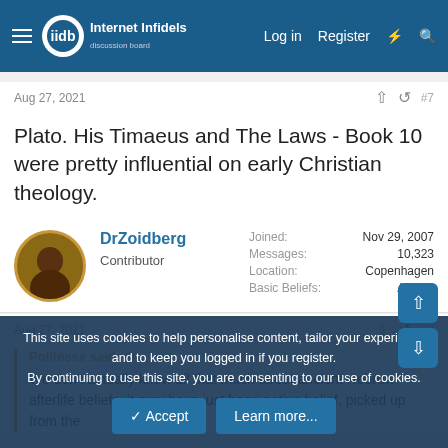Internet Infidels — Log in  Register
Aug 27, 2021  #7
Plato. His Timaeus and The Laws - Book 10 were pretty influential on early Christian theology.
DrZoidberg — Contributor — Joined: Nov 29, 2007 — Messages: 10,323 — Location: Copenhagen — Basic Beliefs: Atheist
Aug 27, 2021  #8
Politesse said: We don't actually know all that much about ancient Hebrew afterlife beliefs; it may have just been native belief, picked up from the
This site uses cookies to help personalise content, tailor your experience and to keep you logged in if you register. By continuing to use this site, you are consenting to our use of cookies.